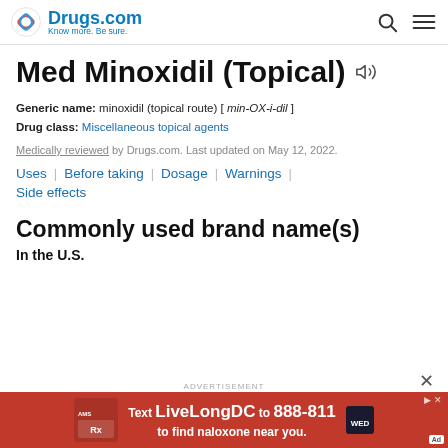Drugs.com — Know more. Be sure.
Med Minoxidil (Topical)
Generic name: minoxidil (topical route) [ min-OX-i-dil ]
Drug class: Miscellaneous topical agents
Medically reviewed by Drugs.com. Last updated on May 12, 2022.
Uses
Before taking
Dosage
Warnings
Side effects
Commonly used brand name(s)
In the U.S.
[Figure (infographic): Advertisement banner: Text LiveLongDC to 888-811 to find naloxone near you.]